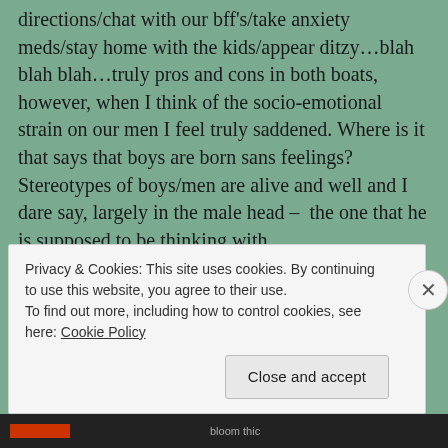directions/chat with our bff's/take anxiety meds/stay home with the kids/appear ditzy…blah blah blah…truly pros and cons in both boats, however, when I think of the socio-emotional strain on our men I feel truly saddened. Where is it that says that boys are born sans feelings? Stereotypes of boys/men are alive and well and I dare say, largely in the male head –  the one that he is supposed to be thinking with.
On behalf of the women who love the men NOT only because you are often taller and framed differently and wear hair on your face and look very handsome b…
Privacy & Cookies: This site uses cookies. By continuing to use this website, you agree to their use.
To find out more, including how to control cookies, see here: Cookie Policy
Close and accept